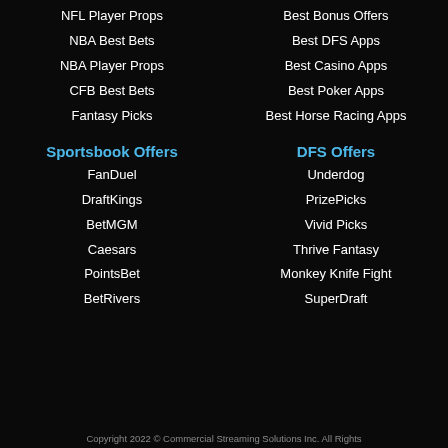NFL Player Props
Best Bonus Offers
NBA Best Bets
Best DFS Apps
NBA Player Props
Best Casino Apps
CFB Best Bets
Best Poker Apps
Fantasy Picks
Best Horse Racing Apps
Sportsbook Offers
DFS Offers
FanDuel
Underdog
DraftKings
PrizePicks
BetMGM
Vivid Picks
Caesars
Thrive Fantasy
PointsBet
Monkey Knife Fight
BetRivers
SuperDraft
Copyright 2022 © Commercial Streaming Solutions Inc. All Rights